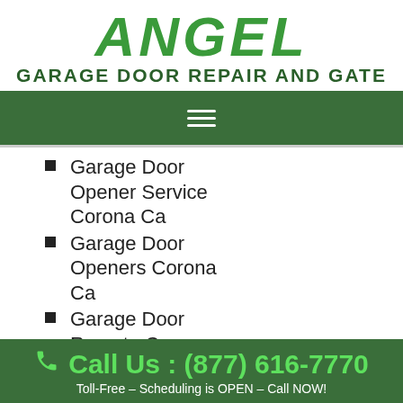ANGEL
GARAGE DOOR REPAIR AND GATE
[Figure (other): Navigation hamburger menu bar with dark green background]
Garage Door Opener Service Corona Ca
Garage Door Openers Corona Ca
Garage Door Remote Corona Ca
Garage Door Repair Co…
Call Us : (877) 616-7770
Toll-Free – Scheduling is OPEN – Call NOW!